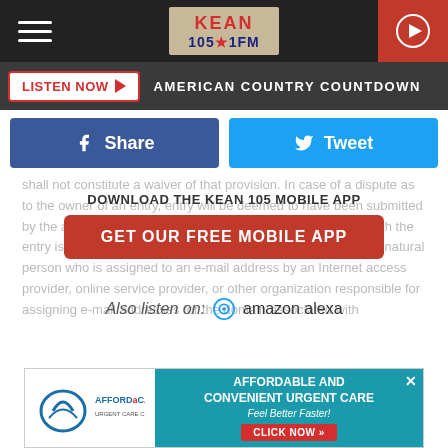[Figure (screenshot): KEAN 105.1 FM radio station website screenshot showing header with logo, hamburger menu, play button, listen now bar, share/tweet buttons, mobile app download overlay, and Affordacare advertisement at bottom]
KEAN 105.1 FM
LISTEN NOW ▶ AMERICAN COUNTRY COUNTDOWN
Share   Tweet
DOWNLOAD THE KEAN 105 MOBILE APP
GET OUR FREE MOBILE APP
shall not constitute a waiver of that provision. In case of a dispute as to the owner of an entry, entry will be deemed to have been submitted by the authorized account holder of the screen name from which the entry is made. The authorized account holder is defined as the natural person who is assigned to an e-mail address by an Internet access provider, online service provider, or other organization responsible for assigning e-mail addresses for the domain associated with
Also listen on:  amazon alexa
[Figure (logo): Affordacare Urgent Care Clinic advertisement banner with teal background and red click now button reading: AFFORDABLE AND CONVENIENT URGENT CARE Feel Better Faster! CLICK NOW »]